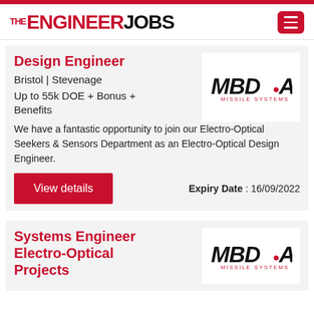THE ENGINEER JOBS
Design Engineer
Bristol | Stevenage
Up to 55k DOE + Bonus + Benefits
We have a fantastic opportunity to join our Electro-Optical Seekers & Sensors Department as an Electro-Optical Design Engineer.
[Figure (logo): MBDA Missile Systems logo]
Expiry Date : 16/09/2022
Systems Engineer Electro-Optical Projects
[Figure (logo): MBDA Missile Systems logo]